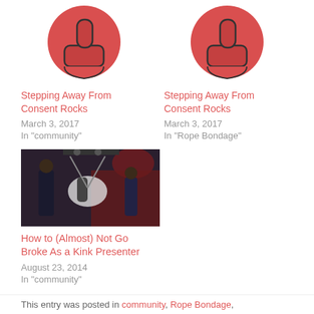[Figure (illustration): Red thumbs-up icon on white background, left column top]
Stepping Away From Consent Rocks
March 3, 2017
In "community"
[Figure (illustration): Red thumbs-up icon on white background, right column top]
Stepping Away From Consent Rocks
March 3, 2017
In "Rope Bondage"
[Figure (photo): A person performing rope bondage on another person on a stage in a dark venue]
How to (Almost) Not Go Broke As a Kink Presenter
August 23, 2014
In "community"
This entry was posted in community, Rope Bondage,